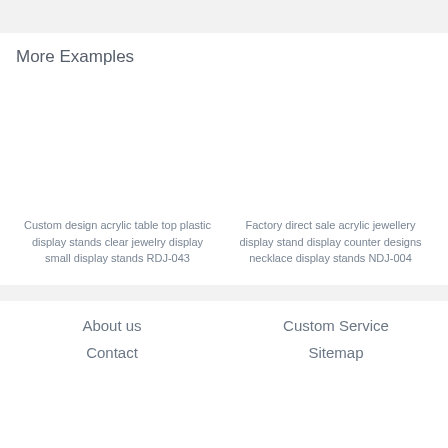More Examples
[Figure (other): Blank white image placeholder for acrylic display stand product]
Custom design acrylic table top plastic display stands clear jewelry display small display stands RDJ-043
[Figure (other): Blank white image placeholder for acrylic jewellery display stand product]
Factory direct sale acrylic jewellery display stand display counter designs necklace display stands NDJ-004
About us   Custom Service   Contact   Sitemap